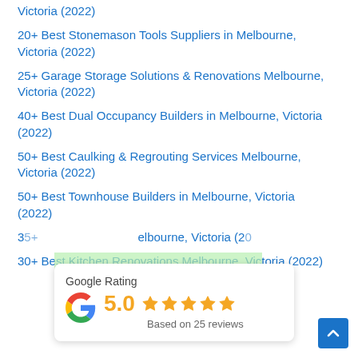Victoria (2022)
20+ Best Stonemason Tools Suppliers in Melbourne, Victoria (2022)
25+ Garage Storage Solutions & Renovations Melbourne, Victoria (2022)
40+ Best Dual Occupancy Builders in Melbourne, Victoria (2022)
50+ Best Caulking & Regrouting Services Melbourne, Victoria (2022)
50+ Best Townhouse Builders in Melbourne, Victoria (2022)
35+ ... Melbourne, Victoria (2022)
30+ Best Kitchen Renovations Melbourne, Victoria (2022)
[Figure (infographic): Google Rating widget showing 5.0 stars, based on 25 reviews, with Google G logo]